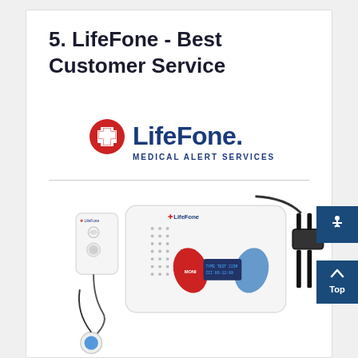5. LifeFone - Best Customer Service
[Figure (logo): LifeFone Medical Alert Services logo with red cross symbol and blue text]
[Figure (photo): LifeFone medical alert devices including base unit with speaker, wristband, and pendant button]